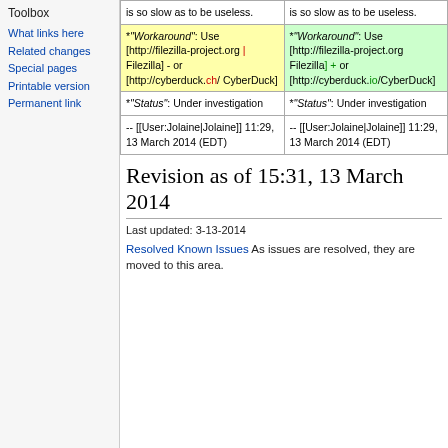Toolbox
What links here
Related changes
Special pages
Printable version
Permanent link
|  |  |
| --- | --- |
| is so slow as to be useless. | is so slow as to be useless. |
| *"Workaround": Use [http://filezilla-project.org | Filezilla] - or [http://cyberduck.ch/ CyberDuck] | *"Workaround": Use [http://filezilla-project.org Filezilla] + or [http://cyberduck.io/CyberDuck] |
| *"Status": Under investigation | *"Status": Under investigation |
| -- [[User:Jolaine|Jolaine]] 11:29, 13 March 2014 (EDT) | -- [[User:Jolaine|Jolaine]] 11:29, 13 March 2014 (EDT) |
Revision as of 15:31, 13 March 2014
Last updated: 3-13-2014
Resolved Known Issues As issues are resolved, they are moved to this area.